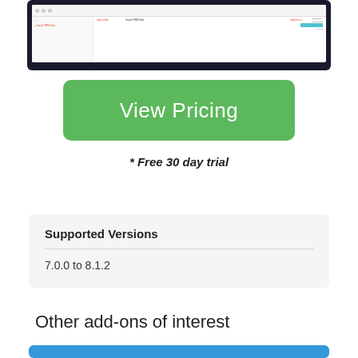[Figure (screenshot): Screenshot of a CRM application interface showing a tablet/device with email and Social CRM Tools interface visible]
View Pricing
* Free 30 day trial
Supported Versions
7.0.0 to 8.1.2
Other add-ons of interest